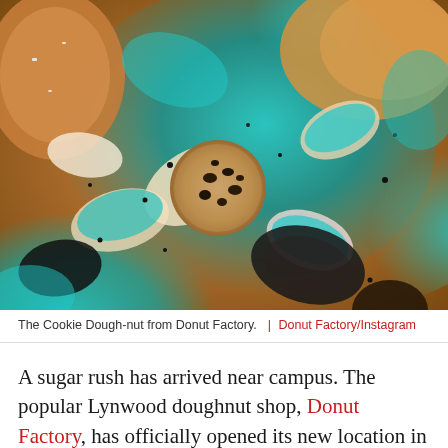[Figure (photo): Close-up photo of Cookie Dough-nut from Donut Factory — doughnuts topped with bright teal/blue frosting, cookie crumbles, Oreo pieces, and chocolate chip cookies scattered among broken pastry pieces.]
The Cookie Dough-nut from Donut Factory.  |  Donut Factory/Instagram
A sugar rush has arrived near campus. The popular Lynwood doughnut shop, Donut Factory, has officially opened its new location in the U District this week, taking over a spot on